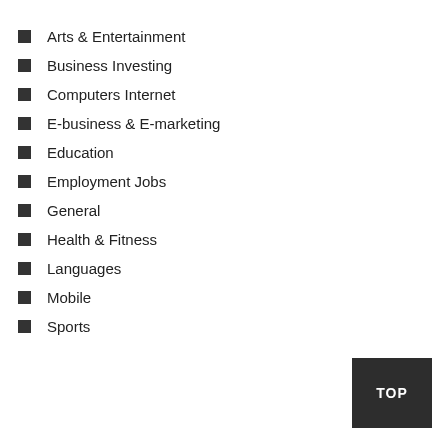Arts & Entertainment
Business Investing
Computers Internet
E-business & E-marketing
Education
Employment Jobs
General
Health & Fitness
Languages
Mobile
Sports